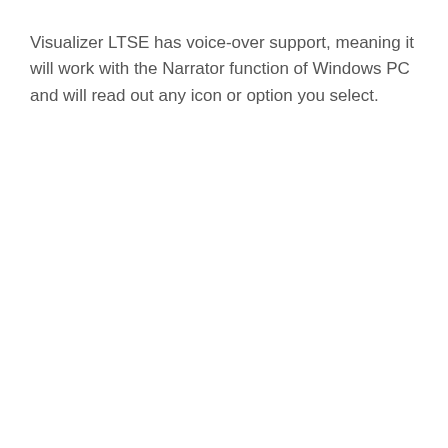Visualizer LTSE has voice-over support, meaning it will work with the Narrator function of Windows PC and will read out any icon or option you select.